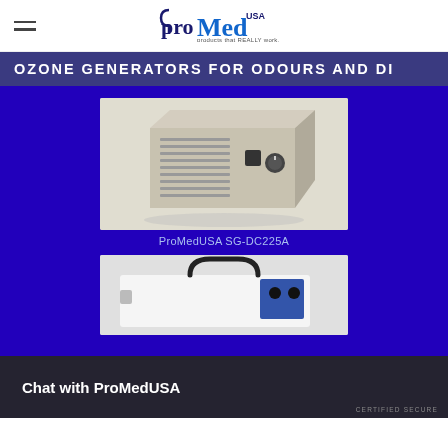ProMed USA — products that REALLY work.
OZONE GENERATORS FOR ODOURS AND DI
[Figure (photo): Ozone generator device ProMedUSA SG-DC225A — beige/tan metal box with ventilation slats on the front and a control knob and power socket on the right side panel.]
ProMedUSA SG-DC225A
[Figure (photo): Second ozone generator device — white rectangular unit with a black handle on top and a blue control panel on the right side.]
Chat with ProMedUSA